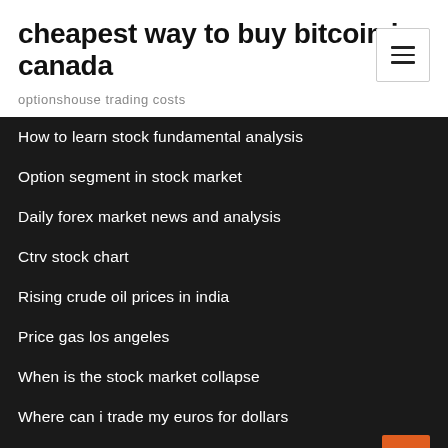cheapest way to buy bitcoin in canada
optionshouse trading costs
How to learn stock fundamental analysis
Option segment in stock market
Daily forex market news and analysis
Ctrv stock chart
Rising crude oil prices in india
Price gas los angeles
When is the stock market collapse
Where can i trade my euros for dollars
Buy bitcoin online canada credit card